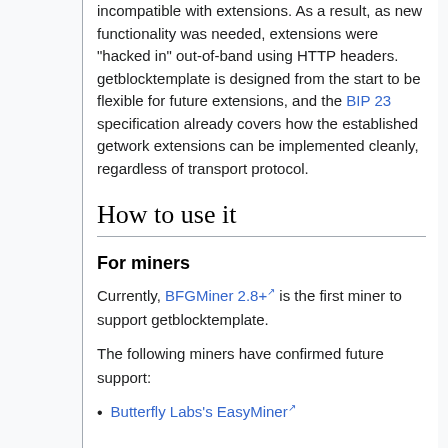incompatible with extensions. As a result, as new functionality was needed, extensions were "hacked in" out-of-band using HTTP headers. getblocktemplate is designed from the start to be flexible for future extensions, and the BIP 23 specification already covers how the established getwork extensions can be implemented cleanly, regardless of transport protocol.
How to use it
For miners
Currently, BFGMiner 2.8+ is the first miner to support getblocktemplate.
The following miners have confirmed future support:
Butterfly Labs's EasyMiner